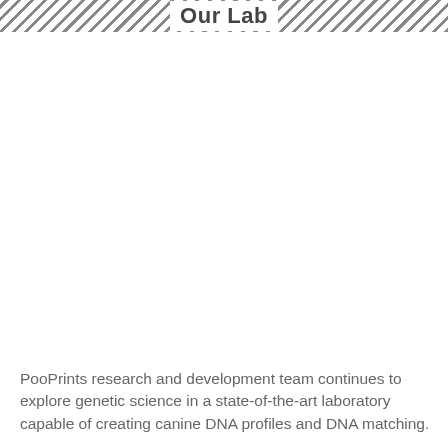Our Lab
[Figure (photo): Laboratory photo area (white/light background placeholder)]
PooPrints research and development team continues to explore genetic science in a state-of-the-art laboratory capable of creating canine DNA profiles and DNA matching.